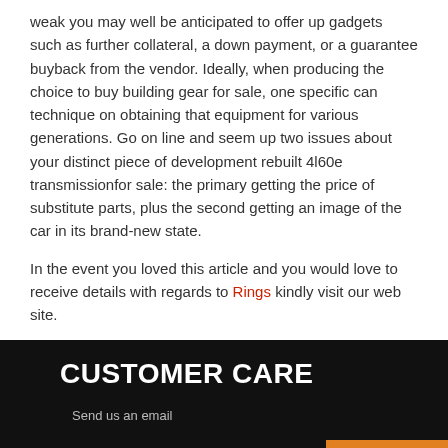weak you may well be anticipated to offer up gadgets such as further collateral, a down payment, or a guarantee buyback from the vendor. Ideally, when producing the choice to buy building gear for sale, one specific can technique on obtaining that equipment for various generations. Go on line and seem up two issues about your distinct piece of development rebuilt 4l60e transmissionfor sale: the primary getting the price of substitute parts, plus the second getting an image of the car in its brand-new state.
In the event you loved this article and you would love to receive details with regards to Rings kindly visit our web site.
CUSTOMER CARE
Send us an email
ABOUT US